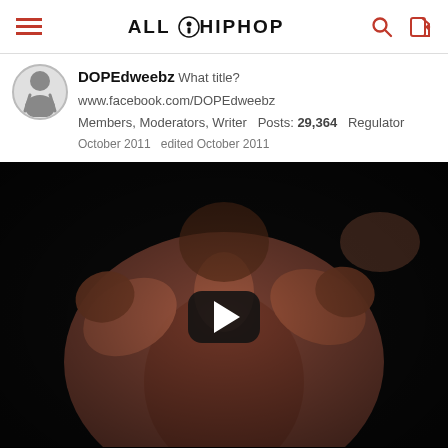ALL HIP HOP
DOPEdweebz  What title?  www.facebook.com/DOPEdweebz  Members, Moderators, Writer  Posts: 29,364  Regulator  October 2011  edited October 2011
[Figure (screenshot): Video thumbnail showing a person with fists raised in a dark setting, with a play button overlay in the center]